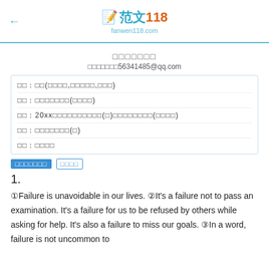范文118 fanwen118.com
□□□□□□□
□□□□□□□56341485@qq.com
| □□: □□(□□□□,□□□□□,□□□) |
| □□: □□□□□□□(□□□□) |
| □□: 20xx□□□□□□□□□□(□)□□□□□□□□(□□□□) |
| □□: □□□□□□□(□) |
| □□: □□□□ |
□□□□□□□  □□□□
1.
①Failure is unavoidable in our lives. ②It's a failure not to pass an examination. It's a failure for us to be refused by others while asking for help. It's also a failure to miss our goals. ③In a word, failure is not uncommon to